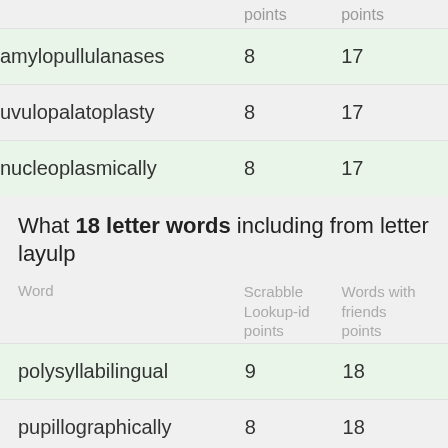|  | points | points |
| --- | --- | --- |
| amylopullulanases | 8 | 17 |
| uvulopalatoplasty | 8 | 17 |
| nucleoplasmically | 8 | 17 |
What 18 letter words including from letter layulp
| Word | Scrabble Lookup-id points | Words with friends points |
| --- | --- | --- |
| polysyllabilingual | 9 | 18 |
| pupillographically | 8 | 18 |